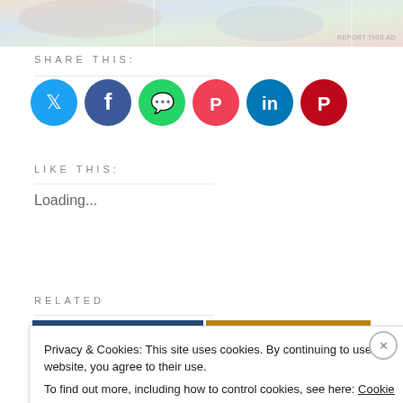[Figure (photo): Partial top image strip showing colorful content, partially cropped]
REPORT THIS AD
SHARE THIS:
[Figure (infographic): Row of six social media icon circles: Twitter (blue), Facebook (dark blue), WhatsApp (green), Pocket (red), LinkedIn (dark teal), Pinterest (dark red)]
LIKE THIS:
Loading...
RELATED
[Figure (photo): Related article thumbnail images strip, partially visible]
Privacy & Cookies: This site uses cookies. By continuing to use this website, you agree to their use.
To find out more, including how to control cookies, see here: Cookie Policy
Close and accept
REPORT THIS AD